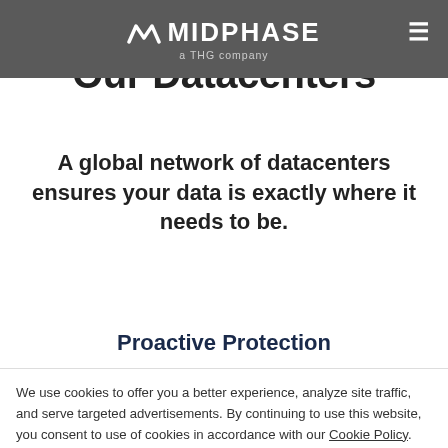MIDPHASE a THG company
Our Datacenters
A global network of datacenters ensures your data is exactly where it needs to be.
Proactive Protection
We use cookies to offer you a better experience, analyze site traffic, and serve targeted advertisements. By continuing to use this website, you consent to use of cookies in accordance with our Cookie Policy.